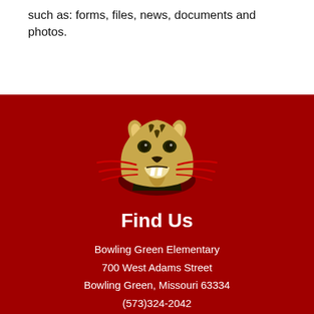such as: forms, files, news, documents and photos.
[Figure (logo): Wildcat mascot logo — a snarling wildcat head in gold/tan and black with red whisker lines, on a dark background]
Find Us
Bowling Green Elementary
700 West Adams Street
Bowling Green, Missouri 63334
(573)324-2042
(573)324-2331